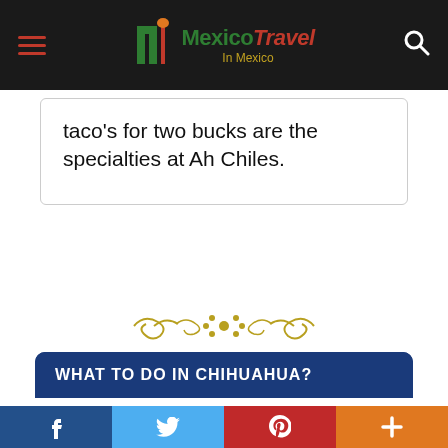Mexico Travel — site header with hamburger menu and search icon
taco's for two bucks are the specialties at Ah Chiles.
[Figure (illustration): Decorative ornamental divider in gold/olive color with scrollwork and floral motif]
WHAT TO DO IN CHIHUAHUA?
There are many beautiful buildings dedicated to the history and culture of Chihuahua. Take a tour through the silver mines, visit the chapel where famed revolutionary Father Hidalgo's body was kept for 16 years, tour the museums, chapels, and churches, or simply wander the streets.
f  (twitter bird)  p  +